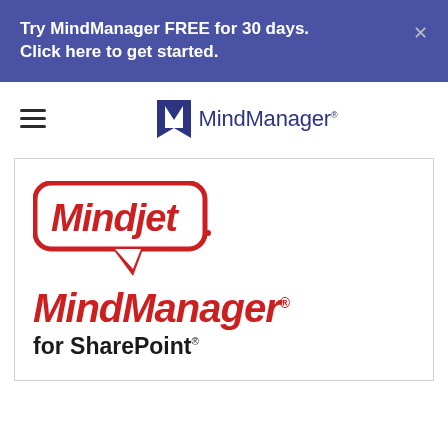Try MindManager FREE for 30 days. Click here to get started.
[Figure (logo): MindManager navigation bar with hamburger menu icon and MindManager logo]
[Figure (logo): Mindjet speech bubble logo above MindManager for SharePoint product branding in red and black text]